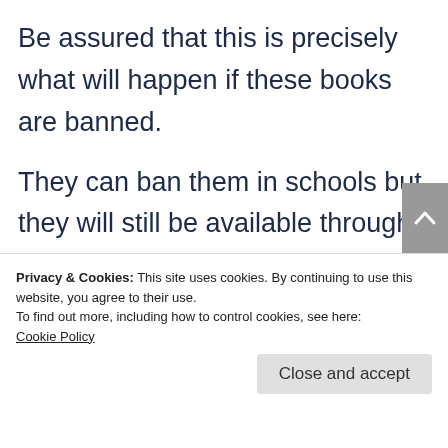Be assured that this is precisely what will happen if these books are banned.
They can ban them in schools but they will still be available through bookshops, and second hand shops and probably even online. Our
Privacy & Cookies: This site uses cookies. By continuing to use this website, you agree to their use.
To find out more, including how to control cookies, see here:
Cookie Policy
deprive them of this joy. In fact